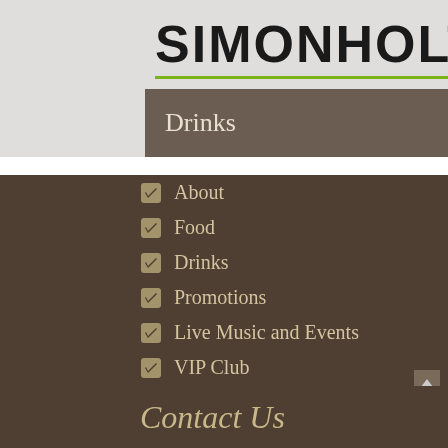SIMONHOLT
Drinks
About
Food
Drinks
Promotions
Live Music and Events
VIP Club
Gallery
Contact Us
Contact Us